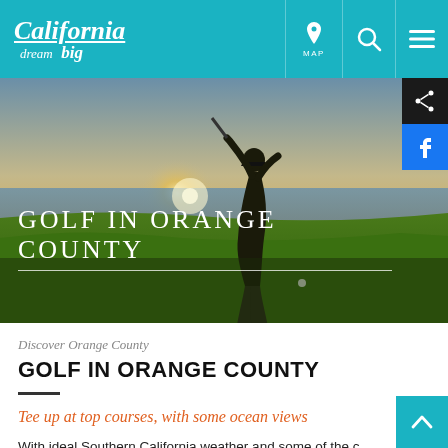California dream big — MAP, Search, Menu navigation
[Figure (photo): Silhouette of a golfer mid-swing on a coastal golf course at sunset, with ocean in the background]
GOLF IN ORANGE COUNTY
Discover Orange County
GOLF IN ORANGE COUNTY
Tee up at top courses, with some ocean views
With ideal Southern California weather and some of the country's most celebrated courses, Orange County justly earns the nickname 'California Golf...